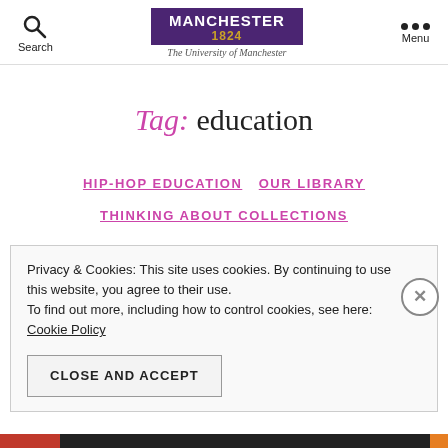Search | The University of Manchester | Menu
Tag: education
HIP-HOP EDUCATION  OUR LIBRARY  THINKING ABOUT COLLECTIONS
Privacy & Cookies: This site uses cookies. By continuing to use this website, you agree to their use.
To find out more, including how to control cookies, see here: Cookie Policy
CLOSE AND ACCEPT